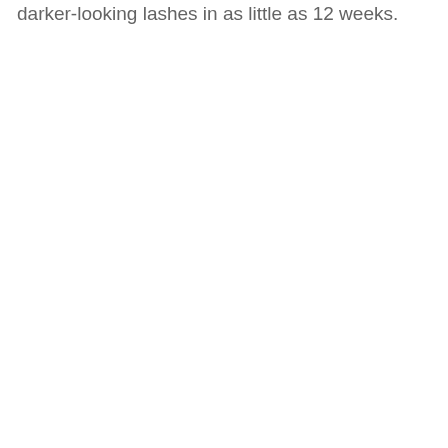darker-looking lashes in as little as 12 weeks.